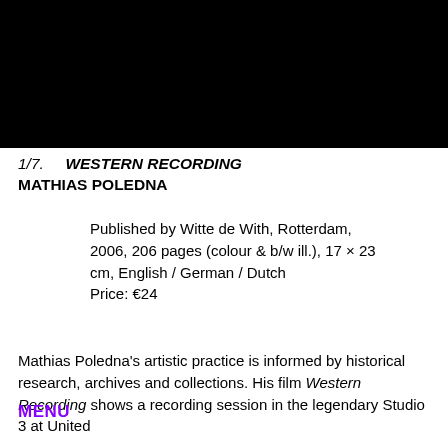[Figure (photo): Large black rectangle filling the top portion of the page, representing a dark image or video still]
1/7.    WESTERN RECORDING
MATHIAS POLEDNA
Published by Witte de With, Rotterdam, 2006, 206 pages (colour & b/w ill.), 17 × 23 cm, English / German / Dutch
Price: €24
Mathias Poledna's artistic practice is informed by historical research, archives and collections. His film Western Recording shows a recording session in the legendary Studio 3 at United